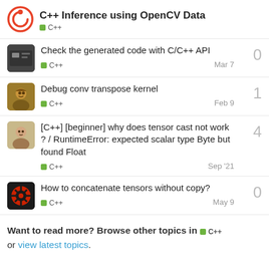C++ Inference using OpenCV Data — C++
Check the generated code with C/C++ API — C++ — Mar 7 — replies: 0
Debug conv transpose kernel — C++ — Feb 9 — replies: 1
[C++] [beginner] why does tensor cast not work ? / RuntimeError: expected scalar type Byte but found Float — C++ — Sep '21 — replies: 4
How to concatenate tensors without copy? — C++ — May 9 — replies: 0
Want to read more? Browse other topics in C++ or view latest topics.